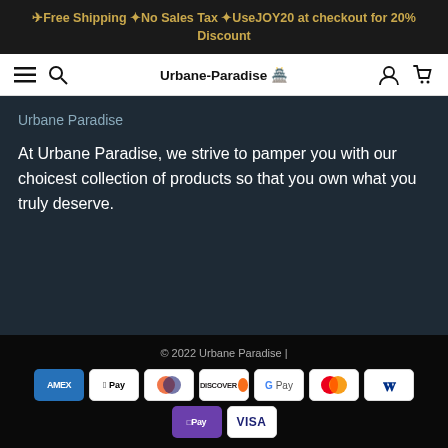✈Free Shipping ✦No Sales Tax ✦UseJOY20 at checkout for 20% Discount
Urbane-Paradise 🏯
Urbane Paradise
At Urbane Paradise, we strive to pamper you with our choicest collection of products so that you own what you truly deserve.
© 2022 Urbane Paradise |
[Figure (other): Payment method icons: American Express, Apple Pay, Diners Club, Discover, Google Pay, Mastercard, PayPal, O Pay, Visa]